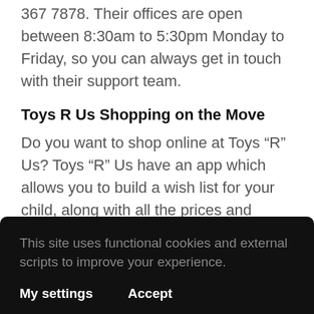367 7878. Their offices are open between 8:30am to 5:30pm Monday to Friday, so you can always get in touch with their support team.
Toys R Us Shopping on the Move
Do you want to shop online at Toys “R” Us? Toys “R” Us have an app which allows you to build a wish list for your child, along with all the prices and promotions associated with them.
You can make a list for each child, while also saving
This site uses functional cookies and external scripts to improve your experience.
My settings    Accept